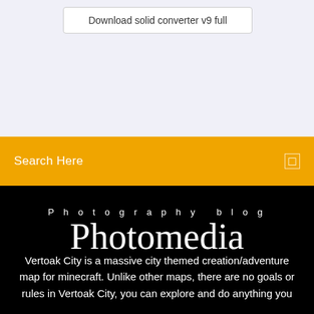Download solid converter v9 full
Search Here
Photography blog
Photomedia
Vertoak City is a massive city themed creation/adventure map for minecraft. Unlike other maps, there are no goals or rules in Vertoak City, you can explore and do anything you want. You can browse our page and do anything you want.